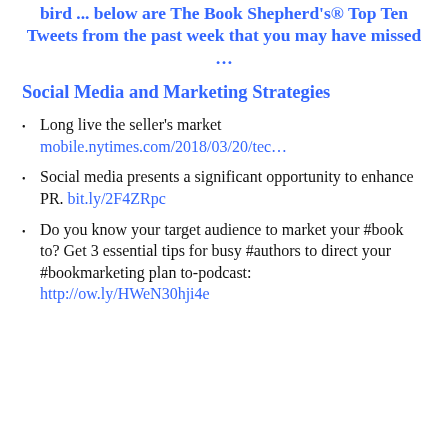bird ... below are The Book Shepherd's® Top Ten Tweets from the past week that you may have missed …
Social Media and Marketing Strategies
Long live the seller's market mobile.nytimes.com/2018/03/20/tec…
Social media presents a significant opportunity to enhance PR. bit.ly/2F4ZRpc
Do you know your target audience to market your #book to? Get 3 essential tips for busy #authors to direct your #bookmarketing plan to-podcast: http://ow.ly/HWeN30hji4e